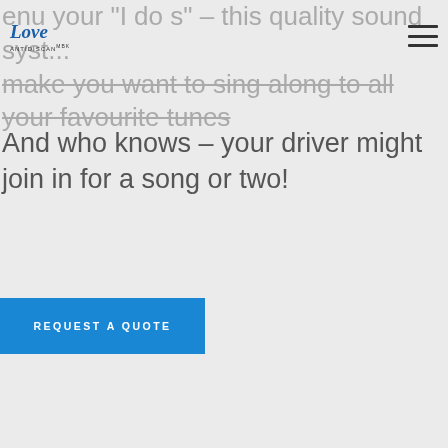Love Antidiscan (logo) | hamburger menu
...make you want to sing along to all your favourite tunes – And who knows – your driver might join in for a song or two!
REQUEST A QUOTE